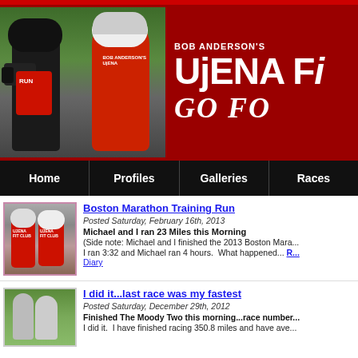BOB ANDERSON'S UJENA FIT CLUB — GO FO...
[Figure (photo): Two people in red running shirts posing together, one holding a camera, outdoors]
BOB ANDERSON'S
UjENA Fi
GO FO
Home | Profiles | Galleries | Races
Boston Marathon Training Run
Posted Saturday, February 16th, 2013
Michael and I ran 23 Miles this Morning
(Side note: Michael and I finished the 2013 Boston Mara...
I ran 3:32 and Michael ran 4 hours.  What happened... R... Diary
[Figure (photo): Two runners in red Ujena Fit Club tank tops]
I did it...last race was my fastest
Posted Saturday, December 29th, 2012
Finished The Moody Two this morning...race number...
I did it.  I have finished racing 350.8 miles and have ave...